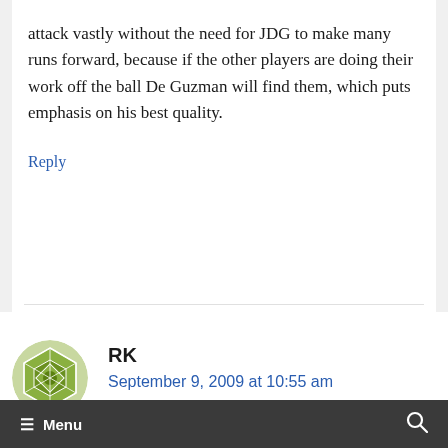attack vastly without the need for JDG to make many runs forward, because if the other players are doing their work off the ball De Guzman will find them, which puts emphasis on his best quality.
Reply
RK
September 9, 2009 at 10:55 am
≡ Menu